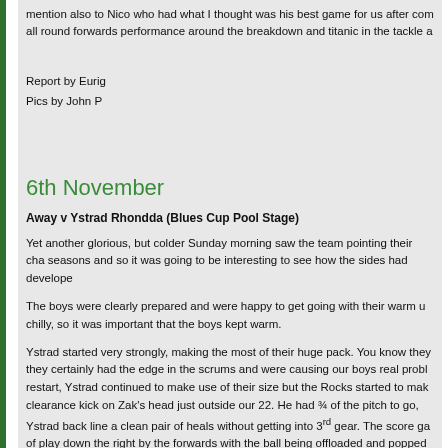mention also to Nico who had what I thought was his best game for us after com all round forwards performance around the breakdown and titanic in the tackle a
Report by Eurig
Pics by John P
6th November
Away v Ystrad Rhondda (Blues Cup Pool Stage)
Yet another glorious, but colder Sunday morning saw the team pointing their cha seasons and so it was going to be interesting to see how the sides had develope
The boys were clearly prepared and were happy to get going with their warm u chilly, so it was important that the boys kept warm.
Ystrad started very strongly, making the most of their huge pack. You know they they certainly had the edge in the scrums and were causing our boys real probl restart, Ystrad continued to make use of their size but the Rocks started to mak clearance kick on Zak's head just outside our 22. He had ¾ of the pitch to go, Ystrad back line a clean pair of heals without getting into 3rd gear. The score ga of play down the right by the forwards with the ball being offloaded and popped on their 22, Nigel hit the ball at pace and burst through to score a top try. Ystrad